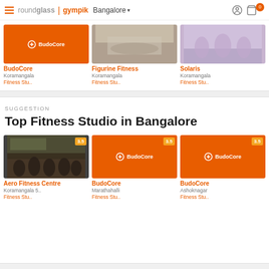roundglass | gympik  Bangalore
[Figure (photo): BudoCore orange branded card]
BudoCore
Koramangala
Fitness Stu..
[Figure (photo): Figurine Fitness gym interior photo]
Figurine Fitness
Koramangala
Fitness Stu..
[Figure (photo): Solaris yoga class photo]
Solaris
Koramangala
Fitness Stu..
SUGGESTION
Top Fitness Studio in Bangalore
[Figure (photo): Aero Fitness Centre gym class photo, rating 3.5]
Aero Fitness Centre
Koramangala 5..
Fitness Stu..
[Figure (photo): BudoCore orange branded card, rating 3.5]
BudoCore
Marathahalli
Fitness Stu..
[Figure (photo): BudoCore orange branded card, rating 3.5]
BudoCore
Ashoknagar
Fitness Stu..